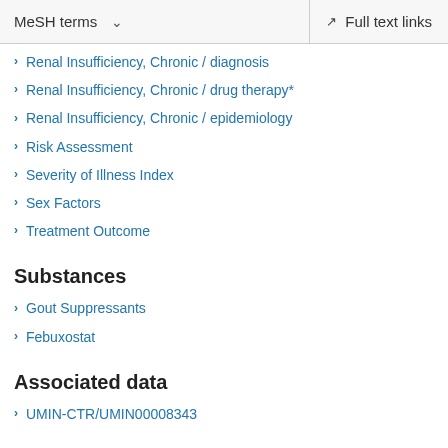MeSH terms  ∨    Full text links
Renal Insufficiency, Chronic / diagnosis
Renal Insufficiency, Chronic / drug therapy*
Renal Insufficiency, Chronic / epidemiology
Risk Assessment
Severity of Illness Index
Sex Factors
Treatment Outcome
Substances
Gout Suppressants
Febuxostat
Associated data
UMIN-CTR/UMIN00008343